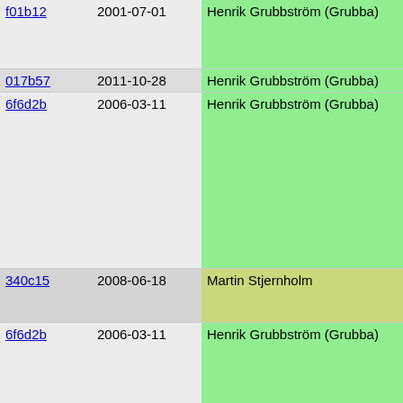| hash | date | author | code |
| --- | --- | --- | --- |
| f01b12 | 2001-07-01 | Henrik Grubbström (Grubba) | if (!ar
  push_
  retur
} |
| 017b57 | 2011-10-28 | Henrik Grubbström (Grubba) | if (fron |
| 6f6d2b | 2006-03-11 | Henrik Grubbström (Grubba) | if (to
  Pike
}
THIS->
THIS->
pop_n_
args =
} else
/* FIX
 *
 * |
| 340c15 | 2008-06-18 | Martin Stjernholm | *
* It
* be |
| 6f6d2b | 2006-03-11 | Henrik Grubbström (Grubba) | */
if (!T
  Pike
}
pop_n_
args = |
| 017b57 | 2011-10-28 | Henrik Grubbström (Grubba) | if (TY |
| 6f6d2b | 2006-03-11 | Henrik Grubbström (Grubba) | SIMP |